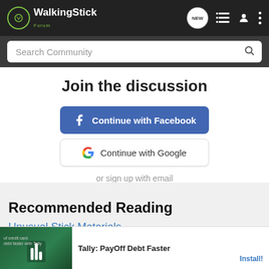WalkingStick Forum — navigation bar with logo, NEW, list, user, and menu icons
Search Community
Join the discussion
Continue with Facebook
Continue with Google
or sign up with email
Recommended Reading
Unusual Stick Materials
General
[Figure (screenshot): Ad banner: Tally: PayOff Debt Faster with Install! button]